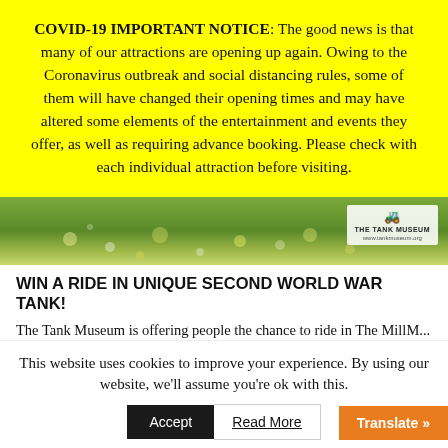COVID-19 IMPORTANT NOTICE: The good news is that many of our attractions are opening up again. Owing to the Coronavirus outbreak and social distancing rules, some of them will have changed their opening times and may have altered some elements of the entertainment and events they offer, as well as requiring advance booking. Please check with each individual attraction before visiting.
[Figure (photo): Outdoor green landscape photo with The Tank Museum logo in the top right corner]
WIN A RIDE IN UNIQUE SECOND WORLD WAR TANK!
The Tank Museum is offering people the chance to ride in The MillM...
This website uses cookies to improve your experience. By using our website, we'll assume you're ok with this.